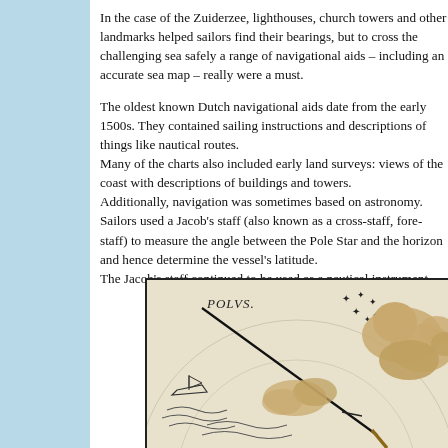In the case of the Zuiderzee, lighthouses, church towers and other landmarks helped sailors find their bearings, but to cross the challenging sea safely a range of navigational aids – including an accurate sea map – really were a must.
The oldest known Dutch navigational aids date from the early 1500s. They contained sailing instructions and descriptions of things like nautical routes. Many of the charts also included early land surveys: views of the coast with descriptions of buildings and towers. Additionally, navigation was sometimes based on astronomy. Sailors used a Jacob's staff (also known as a cross-staff, fore-staff) to measure the angle between the Pole Star and the horizon and hence determine the vessel's latitude. The Jacob's staff continued to be used as a nautical instrument...
[Figure (illustration): Historical woodcut or engraving showing a Jacob's staff navigational instrument against a sky with stars labeled 'POLVS', clouds in a beige/cream illustrated style with hatching patterns indicating sea or horizon lines.]